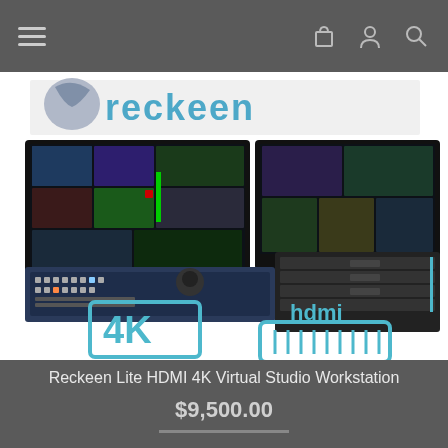Navigation header with hamburger menu and icons
[Figure (photo): Reckeen Lite HDMI 4K Virtual Studio Workstation product photo showing two monitors with broadcasting software, a hardware control panel/switcher, a rack-mounted server unit, and 4K HDMI branding logos in teal/blue color scheme on white background]
Reckeen Lite HDMI 4K Virtual Studio Workstation
$9,500.00